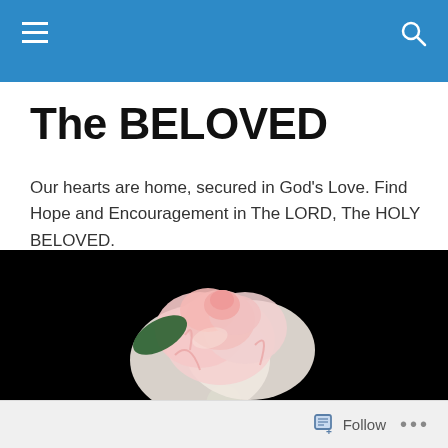The BELOVED [navigation bar with hamburger menu and search icon]
The BELOVED
Our hearts are home, secured in God's Love. Find Hope and Encouragement in The LORD, The HOLY BELOVED.
[Figure (photo): Close-up photograph of a pink and white rose on a black background, showing detailed petals with pink stripes and a green stem]
Follow ...